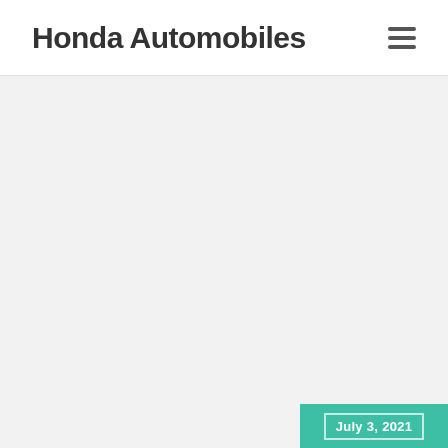Honda Automobiles
[Figure (other): Large empty gray content area below the header, representing the main body of a Honda Automobiles webpage]
July 3, 2021